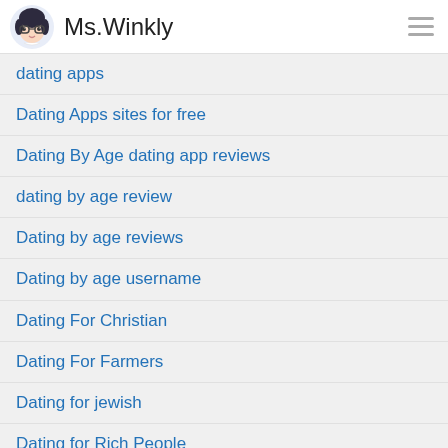Ms.Winkly
dating apps
Dating Apps sites for free
Dating By Age dating app reviews
dating by age review
Dating by age reviews
Dating by age username
Dating For Christian
Dating For Farmers
Dating for jewish
Dating for Rich People
Dating for seniors 40 plus
Dating for seniors 60 plus
Dating For Seniors canta en